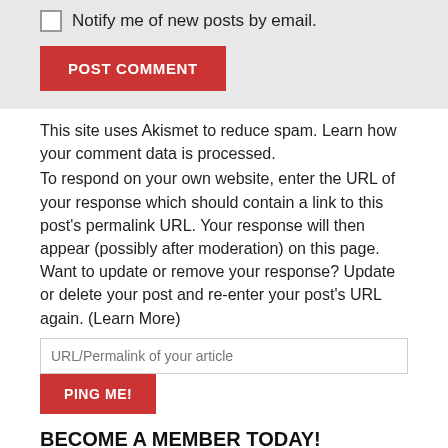Notify me of new posts by email.
POST COMMENT
This site uses Akismet to reduce spam. Learn how your comment data is processed.
To respond on your own website, enter the URL of your response which should contain a link to this post's permalink URL. Your response will then appear (possibly after moderation) on this page. Want to update or remove your response? Update or delete your post and re-enter your post's URL again. (Learn More)
URL/Permalink of your article
PING ME!
BECOME A MEMBER TODAY!
[Figure (illustration): Partial red stop sign visible at bottom of page]